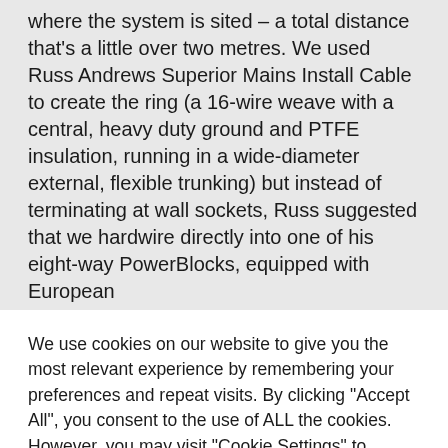where the system is sited – a total distance that's a little over two metres. We used Russ Andrews Superior Mains Install Cable to create the ring (a 16-wire weave with a central, heavy duty ground and PTFE insulation, running in a wide-diameter external, flexible trunking) but instead of terminating at wall sockets, Russ suggested that we hardwire directly into one of his eight-way PowerBlocks, equipped with European
We use cookies on our website to give you the most relevant experience by remembering your preferences and repeat visits. By clicking "Accept All", you consent to the use of ALL the cookies. However, you may visit "Cookie Settings" to provide a controlled consent.